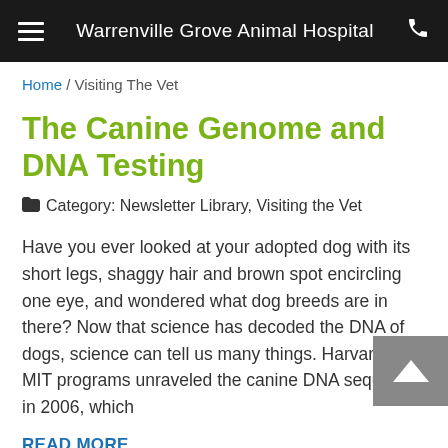Warrenville Grove Animal Hospital
Home / Visiting The Vet
The Canine Genome and DNA Testing
🗂 Category: Newsletter Library, Visiting the Vet
Have you ever looked at your adopted dog with its short legs, shaggy hair and brown spot encircling one eye, and wondered what dog breeds are in there? Now that science has decoded the DNA of dogs, science can tell us many things. Harvard and MIT programs unraveled the canine DNA sequence in 2006, which
READ MORE